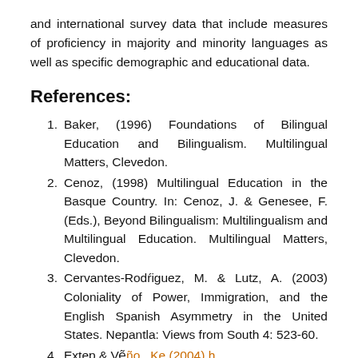and international survey data that include measures of proficiency in majority and minority languages as well as specific demographic and educational data.
References:
Baker, (1996) Foundations of Bilingual Education and Bilingualism. Multilingual Matters, Clevedon.
Cenoz, (1998) Multilingual Education in the Basque Country. In: Cenoz, J. & Genesee, F. (Eds.), Beyond Bilingualism: Multilingualism and Multilingual Education. Multilingual Matters, Clevedon.
Cervantes-Rodr´iguez, M. & Lutz, A. (2003) Coloniality of Power, Immigration, and the English Spanish Asymmetry in the United States. Nepantla: Views from South 4: 523-60.
Extep & Ve˜n...Ke (2004) (partial, cut off)